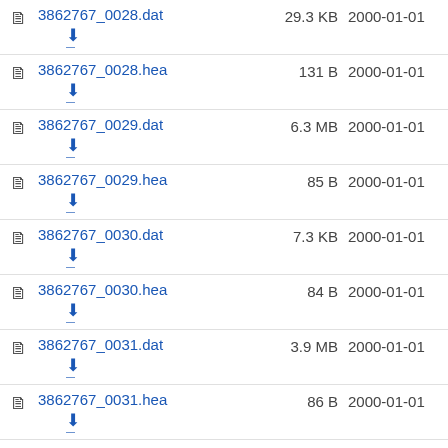3862767_0028.dat  29.3 KB  2000-01-01
3862767_0028.hea  131 B  2000-01-01
3862767_0029.dat  6.3 MB  2000-01-01
3862767_0029.hea  85 B  2000-01-01
3862767_0030.dat  7.3 KB  2000-01-01
3862767_0030.hea  84 B  2000-01-01
3862767_0031.dat  3.9 MB  2000-01-01
3862767_0031.hea  86 B  2000-01-01